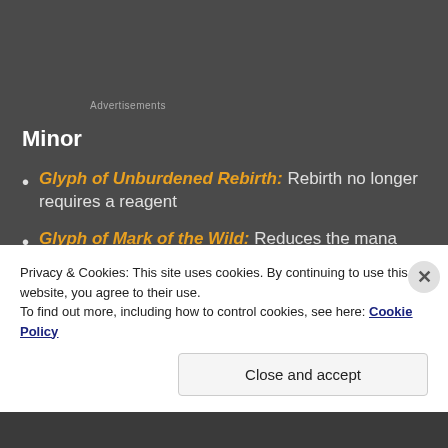Advertisements
Minor
Glyph of Unburdened Rebirth: Rebirth no longer requires a reagent
Glyph of Mark of the Wild: Reduces the mana cost of MotW by 50%
Glyph of Aquatic Form: Increases swim speed by 50% in Aquatic Form
Privacy & Cookies: This site uses cookies. By continuing to use this website, you agree to their use.
To find out more, including how to control cookies, see here: Cookie Policy
Close and accept